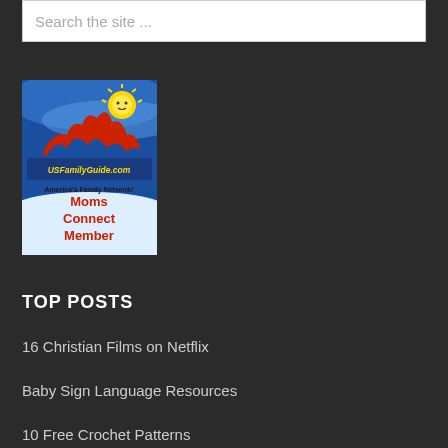Search the site ...
[Figure (logo): USFamilyGuide.com logo with America's Family Network tagline and Moms Connect Member text on blue background with sun and map graphic]
TOP POSTS
16 Christian Films on Netflix
Baby Sign Language Resources
10 Free Crochet Patterns